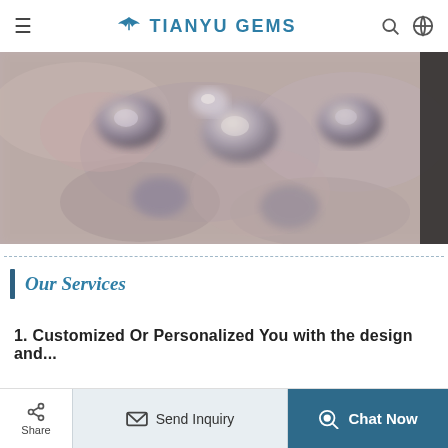TIANYU GEMS
[Figure (photo): Close-up blurry photo of gemstones/cabochons on a textured stone surface, with pink, grey, and dark tones]
Our Services
1. Customized Or Personalized You with the design and...
Share | Send Inquiry | Chat Now